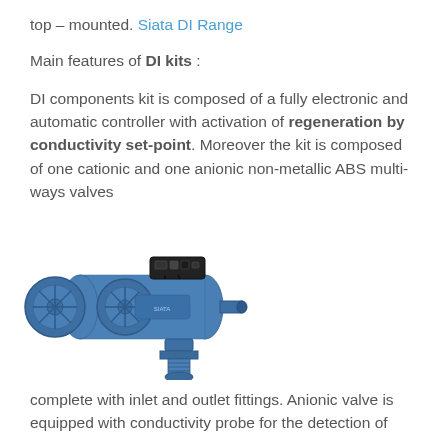top – mounted. Siata DI Range
Main features of DI kits :
DI components kit is composed of a fully electronic and automatic controller with activation of regeneration by conductivity set-point. Moreover the kit is composed of one cationic and one anionic non-metallic ABS multi-ways valves
[Figure (photo): Blue industrial DI valve assembly with two circular end caps, horizontal cylindrical body, top-mounted black electronic controller, and bottom threaded connection fitting]
complete with inlet and outlet fittings. Anionic valve is equipped with conductivity probe for the detection of